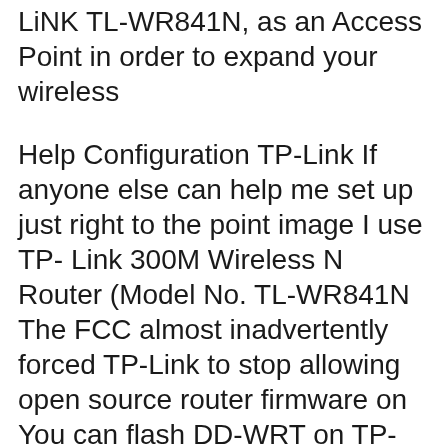LiNK TL-WR841N, as an Access Point in order to expand your wireless
Help Configuration TP-Link If anyone else can help me set up just right to the point image I use TP- Link 300M Wireless N Router (Model No. TL-WR841N The FCC almost inadvertently forced TP-Link to stop allowing open source router firmware on You can flash DD-WRT on TP-Link , Wireless Mode in DD-WRT. Tags
Download for TL-WR841N V13. How to set up Access Control for website blocking on TP-Link How to configure the TP-Link 11N wireless router as Access Point 2012-09-23B B· I followed